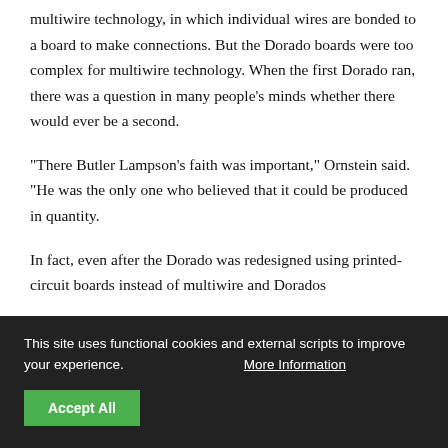start by using a new circuit board technology — so-called multiwire technology, in which individual wires are bonded to a board to make connections. But the Dorado boards were too complex for multiwire technology. When the first Dorado ran, there was a question in many people's minds whether there would ever be a second.
“There Butler Lampson’s faith was important,” Ornstein said. “He was the only one who believed that it could be produced in quantity.
In fact, even after the Dorado was redesigned using printed-circuit boards instead of multiwire and Dorados
This site uses functional cookies and external scripts to improve your experience.  More Information
Accept All